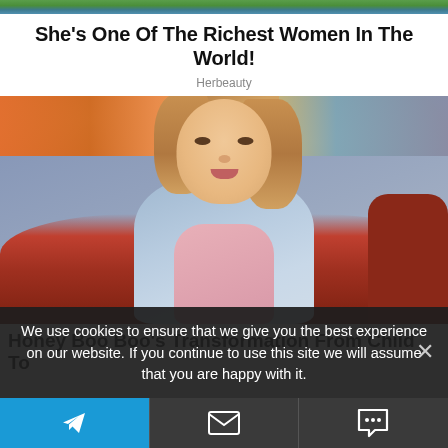[Figure (photo): Partial top image strip showing outdoor/nature scene]
She's One Of The Richest Women In The World!
Herbeauty
[Figure (photo): Young woman with long reddish-brown hair wearing a blue denim jacket over a pink shirt, sitting on a red sofa with a colorful painting in background]
Honey Boo Boo's Transformation From Child To
We use cookies to ensure that we give you the best experience on our website. If you continue to use this site we will assume that you are happy with it.